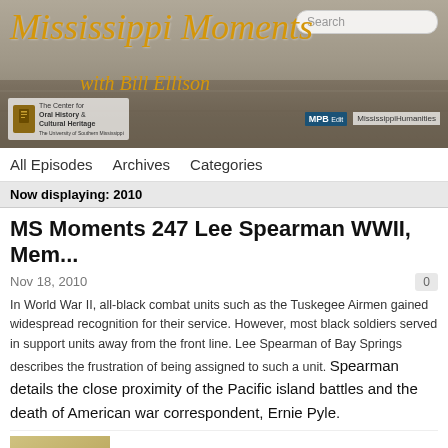[Figure (illustration): Mississippi Moments with Bill Ellison blog banner — gold italic script title over grayscale crowd photograph, with oral history and MPB logos]
All Episodes   Archives   Categories
Now displaying: 2010
MS Moments 247 Lee Spearman WWII, Mem...
Nov 18, 2010
In World War II, all-black combat units such as the Tuskegee Airmen gained widespread recognition for their service. However, most black soldiers served in support units away from the front line. Lee Spearman of Bay Springs describes the frustration of being assigned to such a unit. Spearman details the close proximity of the Pacific island battles and the death of American war correspondent, Ernie Pyle.
[Figure (screenshot): Mississippi Moments podcast thumbnail with play button and green triangle]
MISSISSIPPI MOMENTS PODCAST
MS Moments 247 Lee Spearman ...